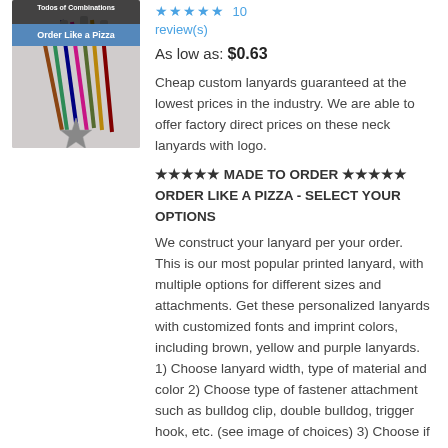[Figure (photo): Product image of custom lanyards with banner text 'Todos of Combinations' and 'Order Like a Pizza']
★★★★★ 10 review(s)
As low as: $0.63
Cheap custom lanyards guaranteed at the lowest prices in the industry. We are able to offer factory direct prices on these neck lanyards with logo.
★★★★★ MADE TO ORDER ★★★★★ ORDER LIKE A PIZZA - SELECT YOUR OPTIONS
We construct your lanyard per your order. This is our most popular printed lanyard, with multiple options for different sizes and attachments. Get these personalized lanyards with customized fonts and imprint colors, including brown, yellow and purple lanyards. 1) Choose lanyard width, type of material and color 2) Choose type of fastener attachment such as bulldog clip, double bulldog, trigger hook, etc. (see image of choices) 3) Choose if you want a stitch, buckle or chrome crimp (see